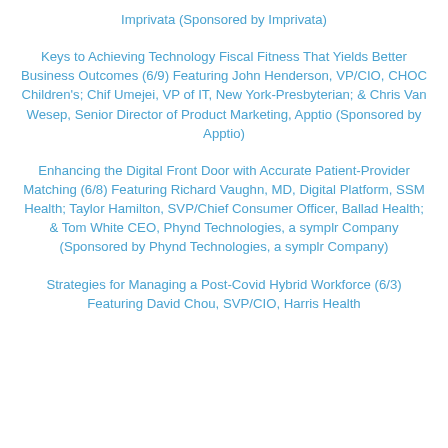Imprivata (Sponsored by Imprivata)
Keys to Achieving Technology Fiscal Fitness That Yields Better Business Outcomes (6/9) Featuring John Henderson, VP/CIO, CHOC Children's; Chif Umejei, VP of IT, New York-Presbyterian; & Chris Van Wesep, Senior Director of Product Marketing, Apptio (Sponsored by Apptio)
Enhancing the Digital Front Door with Accurate Patient-Provider Matching (6/8) Featuring Richard Vaughn, MD, Digital Platform, SSM Health; Taylor Hamilton, SVP/Chief Consumer Officer, Ballad Health; & Tom White CEO, Phynd Technologies, a symplr Company (Sponsored by Phynd Technologies, a symplr Company)
Strategies for Managing a Post-Covid Hybrid Workforce (6/3) Featuring David Chou, SVP/CIO, Harris Health